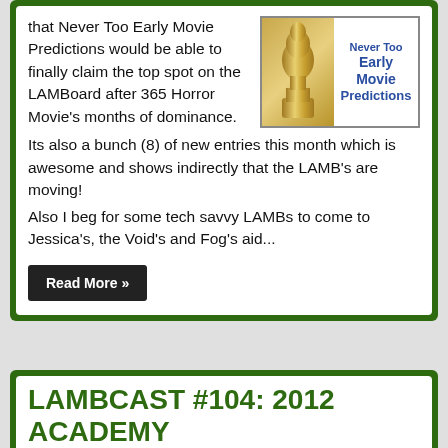that Never Too Early Movie Predictions would be able to finally claim the top spot on the LAMBoard after 365 Horror Movie's months of dominance.
[Figure (illustration): Golden Oscar statuette figure beside a panel with blue bold text reading 'Never Too Early Movie Predictions']
Its also a bunch (8) of new entries this month which is awesome and shows indirectly that the LAMB's are moving!
Also I beg for some tech savvy LAMBs to come to Jessica's, the Void's and Fog's aid...
Read More »
LAMBCAST #104: 2012 ACADEMY AWARD PREDICTIONS